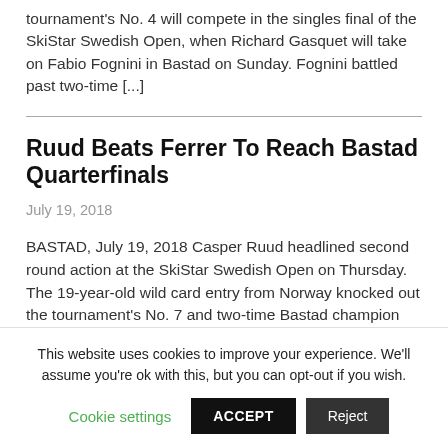tournament's No. 4 will compete in the singles final of the SkiStar Swedish Open, when Richard Gasquet will take on Fabio Fognini in Bastad on Sunday. Fognini battled past two-time [...]
Ruud Beats Ferrer To Reach Bastad Quarterfinals
July 19, 2018
BASTAD, July 19, 2018 Casper Ruud headlined second round action at the SkiStar Swedish Open on Thursday. The 19-year-old wild card entry from Norway knocked out the tournament's No. 7 and two-time Bastad champion David Ferrer 7-5, 6-2.
This website uses cookies to improve your experience. We'll assume you're ok with this, but you can opt-out if you wish.